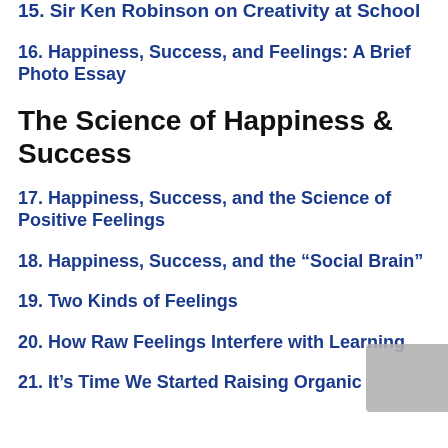15. Sir Ken Robinson on Creativity at School
16. Happiness, Success, and Feelings: A Brief Photo Essay
The Science of Happiness & Success
17. Happiness, Success, and the Science of Positive Feelings
18. Happiness, Success, and the “Social Brain”
19. Two Kinds of Feelings
20. How Raw Feelings Interfere with Learning
21. It’s Time We Started Raising Organic